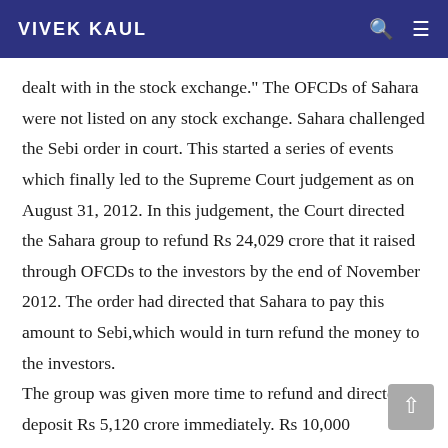VIVEK KAUL
dealt with in the stock exchange." The OFCDs of Sahara were not listed on any stock exchange. Sahara challenged the Sebi order in court. This started a series of events which finally led to the Supreme Court judgement as on August 31, 2012. In this judgement, the Court directed the Sahara group to refund Rs 24,029 crore that it raised through OFCDs to the investors by the end of November 2012. The order had directed that Sahara to pay this amount to Sebi,which would in turn refund the money to the investors.

The group was given more time to refund and directed to deposit Rs 5,120 crore immediately. Rs 10,000...